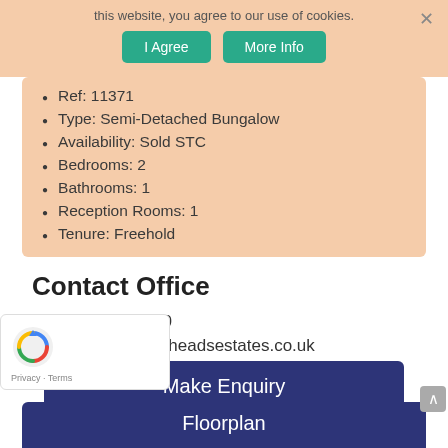this website, you agree to our use of cookies.
I Agree | More Info
Ref: 11371
Type: Semi-Detached Bungalow
Availability: Sold STC
Bedrooms: 2
Bathrooms: 1
Reception Rooms: 1
Tenure: Freehold
Contact Office
Tel: 01530 353170
Email: info@whiteheadsestates.co.uk
Make Enquiry
Floorplan